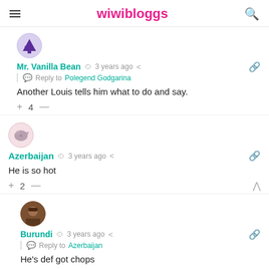wiwibloggs
[Figure (illustration): Avatar icon of a purple pine tree on white/lavender circle background]
Mr. Vanilla Bean  3 years ago   Reply to Polegend Godgarina
Another Louis tells him what to do and say.
+ 4 —
[Figure (illustration): Avatar icon of a pink blob/ghost character on pink circle background]
Azerbaijan  3 years ago
He is so hot
+ 2 —
[Figure (photo): Avatar photo of a person with hat on dark brown circle background]
Burundi  3 years ago   Reply to Azerbaijan
He's def got chops